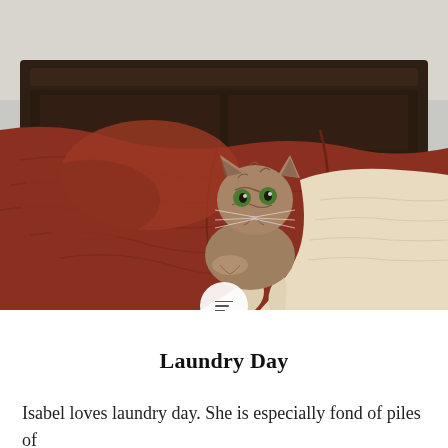[Figure (photo): A tabby cat lying on a bed between a red/rust quilted blanket and a cream-colored fleece blanket, looking upward toward the camera. The dark wooden headboard is visible in the background.]
Laundry Day
Isabel loves laundry day. She is especially fond of piles of